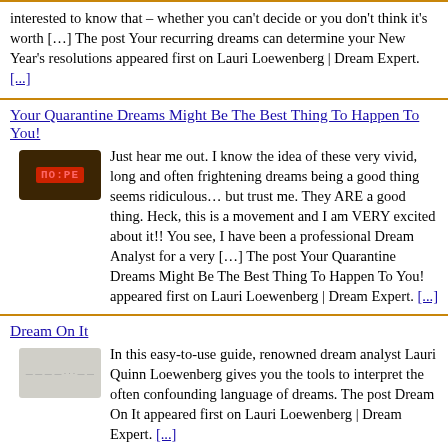interested to know that – whether you can't decide or you don't think it's worth […] The post Your recurring dreams can determine your New Year's resolutions appeared first on Lauri Loewenberg | Dream Expert. [...]
Your Quarantine Dreams Might Be The Best Thing To Happen To You!
[Figure (photo): Small image of a digital alarm clock with red LED display showing time.]
Just hear me out. I know the idea of these very vivid, long and often frightening dreams being a good thing seems ridiculous… but trust me. They ARE a good thing. Heck, this is a movement and I am VERY excited about it!! You see, I have been a professional Dream Analyst for a very […] The post Your Quarantine Dreams Might Be The Best Thing To Happen To You! appeared first on Lauri Loewenberg | Dream Expert. [...]
Dream On It
[Figure (photo): Small thumbnail image of Dream On It book cover, appears faded/light.]
In this easy-to-use guide, renowned dream analyst Lauri Quinn Loewenberg gives you the tools to interpret the often confounding language of dreams. The post Dream On It appeared first on Lauri Loewenberg | Dream Expert. [...]